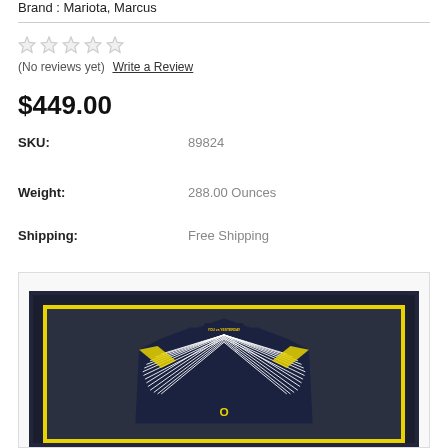Brand : Mariota, Marcus
| Field | Value |
| --- | --- |
| SKU: | 89824 |
| Weight: | 288.00 Ounces |
| Shipping: | Free Shipping |
$449.00
(No reviews yet)  Write a Review
[Figure (photo): Framed Oregon Ducks football jersey displayed in a dark frame with yellow border against a dark teal background. The navy blue Nike jersey shows 'YOU vs YESTERDAY' text on the collar with white wing-like design on the shoulders and yellow accents.]